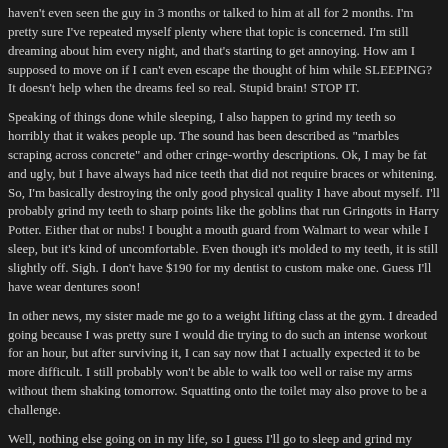haven't even seen the guy in 3 months or talked to him at all for 2 months. I'm pretty sure I've repeated myself plenty where that topic is concerned. I'm still dreaming about him every night, and that's starting to get annoying. How am I supposed to move on if I can't even escape the thought of him while SLEEPING? It doesn't help when the dreams feel so real. Stupid brain! STOP IT.
Speaking of things done while sleeping, I also happen to grind my teeth so horribly that it wakes people up. The sound has been described as "marbles scraping across concrete" and other cringe-worthy descriptions. Ok, I may be fat and ugly, but I have always had nice teeth that did not require braces or whitening. So, I'm basically destroying the only good physical quality I have about myself. I'll probably grind my teeth to sharp points like the goblins that run Gringotts in Harry Potter. Either that or nubs! I bought a mouth guard from Walmart to wear while I sleep, but it's kind of uncomfortable. Even though it's molded to my teeth, it is still slightly off. Sigh. I don't have $190 for my dentist to custom make one. Guess I'll have wear dentures soon!
In other news, my sister made me go to a weight lifting class at the gym. I dreaded going because I was pretty sure I would die trying to do such an intense workout for an hour, but after surviving it, I can say now that I actually expected it to be more difficult. I still probably won't be able to walk too well or raise my arms without them shaking tomorrow. Squatting onto the toilet may also prove to be a challenge.
Well, nothing else going on in my life, so I guess I'll go to sleep and grind my teeth and dream of a guy who doesn't want me. Niiiiice.
12:34 a.m. - Wednesday, Jul. 03, 2013
--------------------------------------------------------------------------------
previous - next